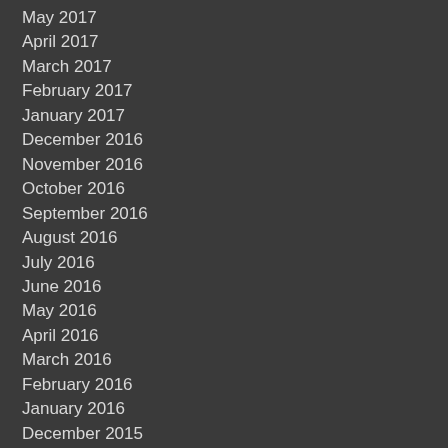May 2017
April 2017
March 2017
February 2017
January 2017
December 2016
November 2016
October 2016
September 2016
August 2016
July 2016
June 2016
May 2016
April 2016
March 2016
February 2016
January 2016
December 2015
November 2015
October 2015
September 2015